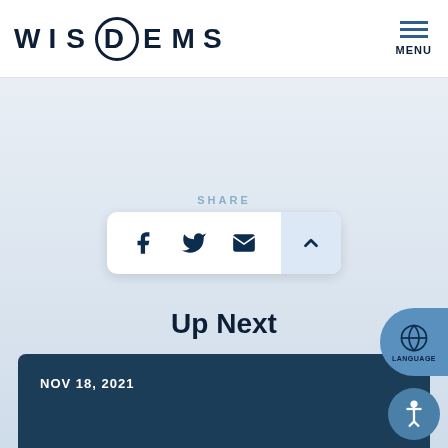WISDEMS — MENU
SHARE
[Figure (screenshot): Social sharing toolbar with Facebook, Twitter, email, and up-arrow icons on white rounded card]
Up Next
NOV 18, 2021